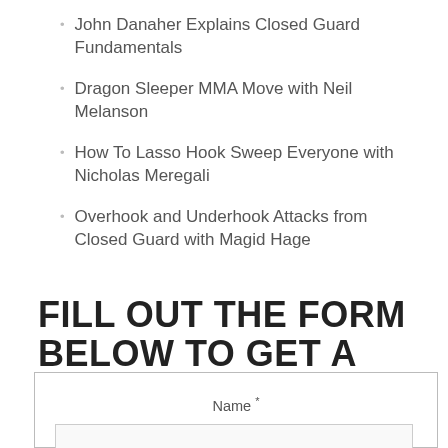John Danaher Explains Closed Guard Fundamentals
Dragon Sleeper MMA Move with Neil Melanson
How To Lasso Hook Sweep Everyone with Nicholas Meregali
Overhook and Underhook Attacks from Closed Guard with Magid Hage
FILL OUT THE FORM BELOW TO GET A FREE 1-WEEK COURSE...
Name *